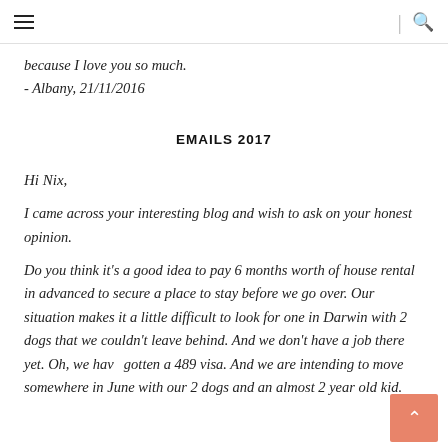≡  |  🔍
because I love you so much.
- Albany, 21/11/2016
EMAILS 2017
Hi Nix,
I came across your interesting blog and wish to ask on your honest opinion.
Do you think it's a good idea to pay 6 months worth of house rental in advanced to secure a place to stay before we go over. Our situation makes it a little difficult to look for one in Darwin with 2 dogs that we couldn't leave behind. And we don't have a job there yet. Oh, we have gotten a 489 visa. And we are intending to move somewhere in June with our 2 dogs and an almost 2 year old kid.